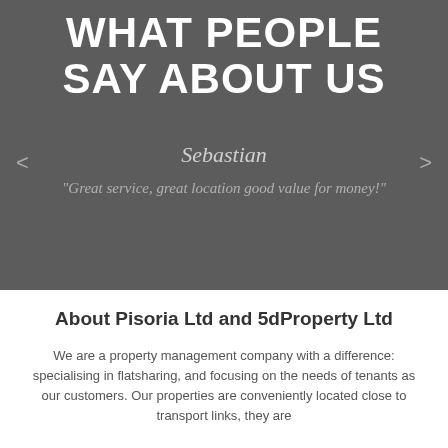WHAT PEOPLE SAY ABOUT US
Sebastian
"Great service, great location good value for money!"
About Pisoria Ltd and 5dProperty Ltd
We are a property management company with a difference: specialising in flatsharing, and focusing on the needs of tenants as our customers. Our properties are conveniently located close to transport links, they are